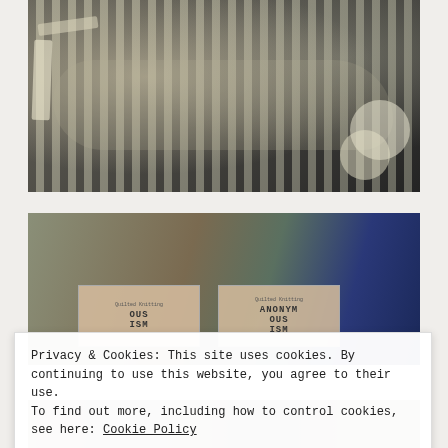[Figure (photo): Close-up photograph of patterned fabric or woven textile with camo/botanical pattern in olive, cream, and dark charcoal tones, draped over wooden slats.]
[Figure (photo): Close-up photograph of folded fabric swatches in green, brown, and navy tones with paper labels reading 'ANONYMOUS ISM'.]
Privacy & Cookies: This site uses cookies. By continuing to use this website, you agree to their use.
To find out more, including how to control cookies, see here: Cookie Policy
Close and accept
[Figure (photo): Partial photograph of textured fabric in muted warm tones, cropped at bottom of page.]